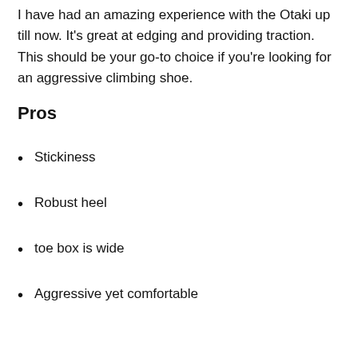I have had an amazing experience with the Otaki up till now. It's great at edging and providing traction. This should be your go-to choice if you're looking for an aggressive climbing shoe.
Pros
Stickiness
Robust heel
toe box is wide
Aggressive yet comfortable